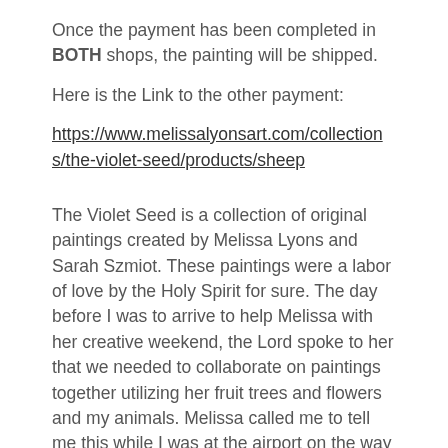Once the payment has been completed in BOTH shops, the painting will be shipped.
Here is the Link to the other payment:
https://www.melissalyonsart.com/collections/the-violet-seed/products/sheep
The Violet Seed is a collection of original paintings created by Melissa Lyons and Sarah Szmiot. These paintings were a labor of love by the Holy Spirit for sure. The day before I was to arrive to help Melissa with her creative weekend, the Lord spoke to her that we needed to collaborate on paintings together utilizing her fruit trees and flowers and my animals. Melissa called me to tell me this while I was at the airport on the way to her house, and we both got so excited! I told her that God had spoken the same thing to me months before! How fun! Once she picked me